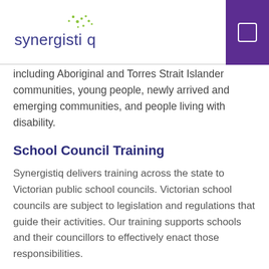synergistiq
including Aboriginal and Torres Strait Islander communities, young people, newly arrived and emerging communities, and people living with disability.
School Council Training
Synergistiq delivers training across the state to Victorian public school councils. Victorian school councils are subject to legislation and regulations that guide their activities. Our training supports schools and their councillors to effectively enact those responsibilities.
Role Description/Activities